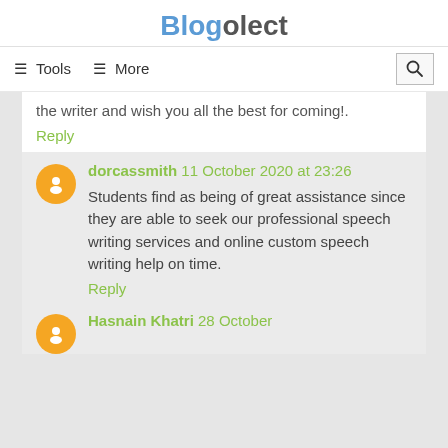Blogolect
≡ Tools   ≡ More
the writer and wish you all the best for coming!.
Reply
dorcassmith 11 October 2020 at 23:26
Students find as being of great assistance since they are able to seek our professional speech writing services and online custom speech writing help on time.
Reply
Hasnain Khatri 28 October